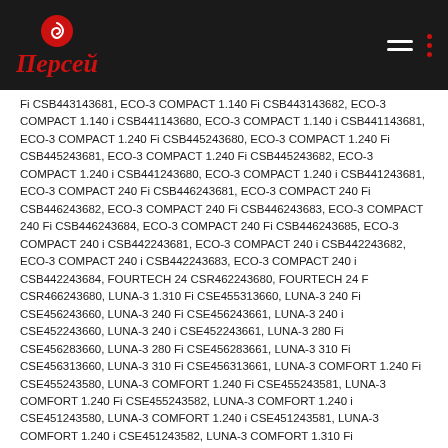Персей
Fi CSB443143681, ECO-3 COMPACT 1.140 Fi CSB443143682, ECO-3 COMPACT 1.140 i CSB441143680, ECO-3 COMPACT 1.140 i CSB441143681, ECO-3 COMPACT 1.240 Fi CSB445243680, ECO-3 COMPACT 1.240 Fi CSB445243681, ECO-3 COMPACT 1.240 Fi CSB445243682, ECO-3 COMPACT 1.240 i CSB441243680, ECO-3 COMPACT 1.240 i CSB441243681, ECO-3 COMPACT 240 Fi CSB446243681, ECO-3 COMPACT 240 Fi CSB446243682, ECO-3 COMPACT 240 Fi CSB446243683, ECO-3 COMPACT 240 Fi CSB446243684, ECO-3 COMPACT 240 Fi CSB446243685, ECO-3 COMPACT 240 i CSB442243681, ECO-3 COMPACT 240 i CSB442243682, ECO-3 COMPACT 240 i CSB442243683, ECO-3 COMPACT 240 i CSB442243684, FOURTECH 24 CSR462243680, FOURTECH 24 F CSR466243680, LUNA-3 1.310 Fi CSE455313660, LUNA-3 240 Fi CSE456243660, LUNA-3 240 Fi CSE456243661, LUNA-3 240 i CSE452243660, LUNA-3 240 i CSE452243661, LUNA-3 280 Fi CSE456283660, LUNA-3 280 Fi CSE456283661, LUNA-3 310 Fi CSE456313660, LUNA-3 310 Fi CSE456313661, LUNA-3 COMFORT 1.240 Fi CSE455243580, LUNA-3 COMFORT 1.240 Fi CSE455243581, LUNA-3 COMFORT 1.240 Fi CSE455243582, LUNA-3 COMFORT 1.240 i CSE451243580, LUNA-3 COMFORT 1.240 i CSE451243581, LUNA-3 COMFORT 1.240 i CSE451243582, LUNA-3 COMFORT 1.310 Fi CSE455313580, LUNA-3 COMFORT 1.310 Fi CSE455313581, LUNA-3